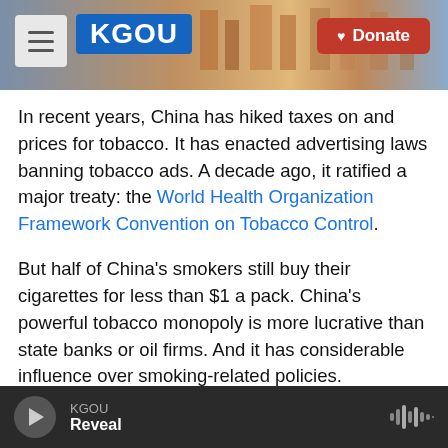[Figure (screenshot): KGOU radio station website header with logo, city background image, and Donate button]
In recent years, China has hiked taxes on and prices for tobacco. It has enacted advertising laws banning tobacco ads. A decade ago, it ratified a major treaty: the World Health Organization Framework Convention on Tobacco Control.
But half of China's smokers still buy their cigarettes for less than $1 a pack. China's powerful tobacco monopoly is more lucrative than state banks or oil firms. And it has considerable influence over smoking-related policies.
Yang points out that the tobacco industry is
KGOU Reveal